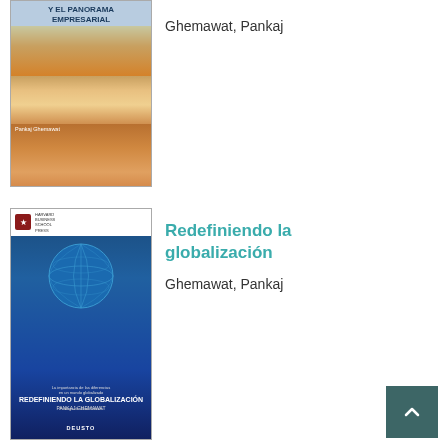[Figure (photo): Book cover: Y el panorama empresarial, desert landscape, by Pankaj Ghemawat]
Ghemawat, Pankaj
[Figure (photo): Book cover: Redefiniendo la globalización, globe on blue background, by Pankaj Ghemawat]
Redefiniendo la globalización
Ghemawat, Pankaj